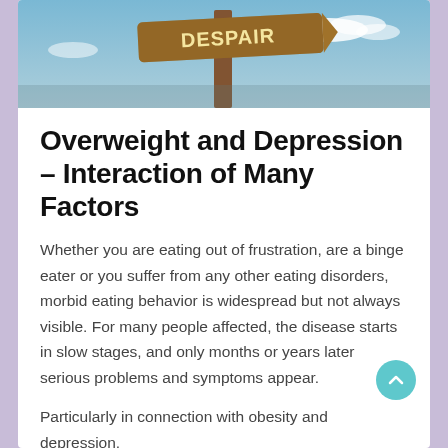[Figure (photo): Wooden road sign post with two arrow signs reading 'DESPAIR' against a blue sky background]
Overweight and Depression – Interaction of Many Factors
Whether you are eating out of frustration, are a binge eater or you suffer from any other eating disorders, morbid eating behavior is widespread but not always visible. For many people affected, the disease starts in slow stages, and only months or years later serious problems and symptoms appear.
Particularly in connection with obesity and depression,